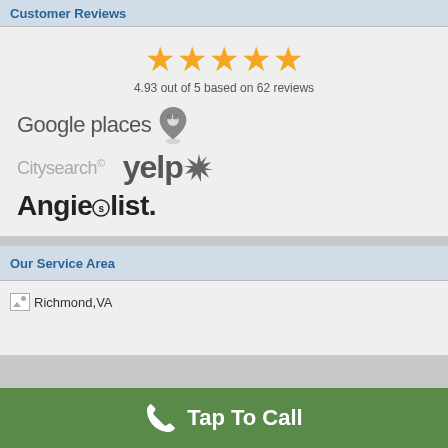Customer Reviews
[Figure (other): Five orange stars rating display with text '4.93 out of 5 based on 62 reviews' and logos: Google places, Citysearch, Yelp, Angie's list]
Our Service Area
[Figure (other): Broken image placeholder labeled Richmond, VA]
Tap To Call